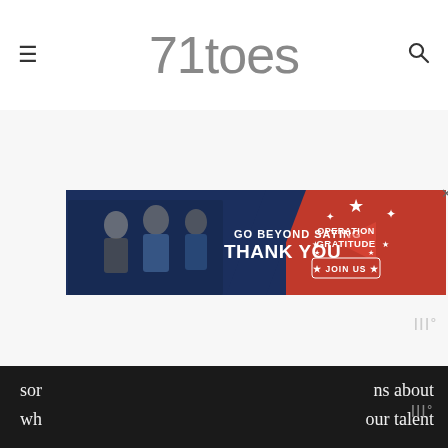71toes
[Figure (infographic): Advertisement banner: 'GO BEYOND SAYING THANK YOU' with Operation Gratitude branding and JOIN US button, shown on a dark blue and red background. Left side shows people shaking hands. An X close button is visible at top right.]
One of those things I remember was the way my Dad would
sor
wh
ns about
our talent